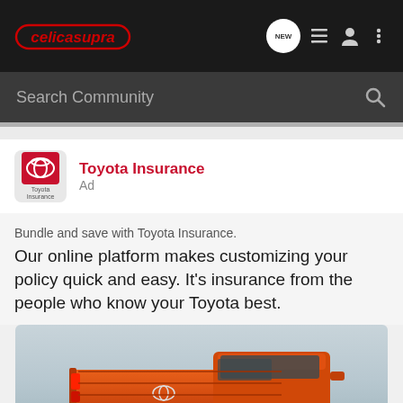celicasupra — navigation bar with search
Toyota Insurance
Ad
Bundle and save with Toyota Insurance. Our online platform makes customizing your policy quick and easy. It's insurance from the people who know your Toyota best.
[Figure (photo): Orange/red Toyota truck (Tacoma or Tundra) photographed from a rear three-quarter angle against a light grey sky background.]